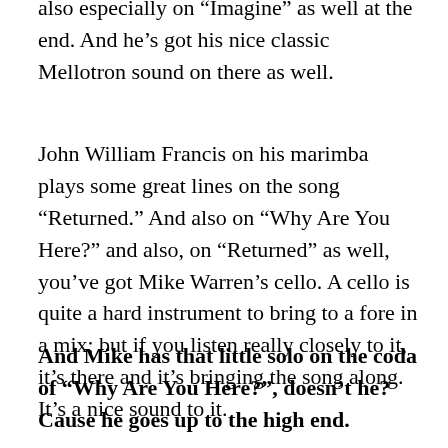also especially on “Imagine” as well at the end.  And he’s got his nice classic Mellotron sound on there as well.
John William Francis on his marimba plays some great lines on the song “Returned.”  And also on “Why Are You Here?” and also, on “Returned” as well, you’ve got Mike Warren’s cello.  A cello is quite a hard instrument to bring to a fore in a mix; but if you listen really closely to it, it’s there and it’s bringing the song along.  It’s a nice sound to it.
And Mike has that little solo on the coda of “Why Are You Here?”, doesn’t he?  Cause he goes up to the high end.